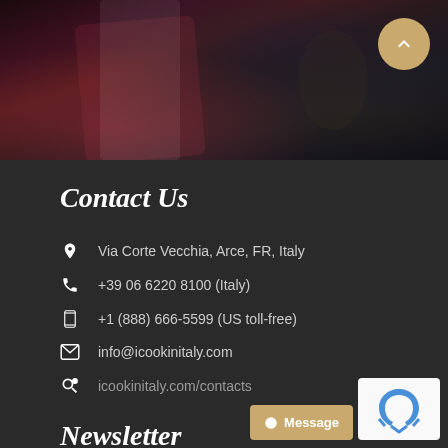[Figure (photo): Dark photograph showing a person in formal attire with a pink/red tie, holding what appears to be a wine glass. Dark moody background.]
Contact Us
Via Corte Vecchia, Arce, FR, Italy
+39 06 6220 8100 (Italy)
+1 (888) 666-5599 (US toll-free)
info@icookinitaly.com
icookinitaly.com/contacts
Newsletter